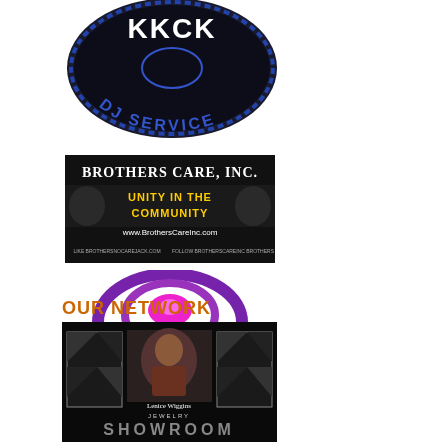[Figure (logo): DJ Service circular badge logo with dark blue/black background, 'KKCK' text at top, 'DJ SERVICE' at bottom in blue arc]
[Figure (logo): Brothers Care, Inc. banner with black background, gold text 'BROTHERS CARE, INC.', yellow/orange 'UNITY IN THE COMMUNITY' text with hands imagery, website www.BrothersCareInc.com]
[Figure (logo): DJ Rudd logo with purple/magenta circular swirl graphic above bold purple text 'DJ RUDD']
OUR NETWORK
[Figure (logo): Lenice Wiggins Jewelry Showroom logo with dark background, window-frame design, woman's photo, text 'Lenice Wiggins JEWELRY' and large 'SHOWROOM' text at bottom]